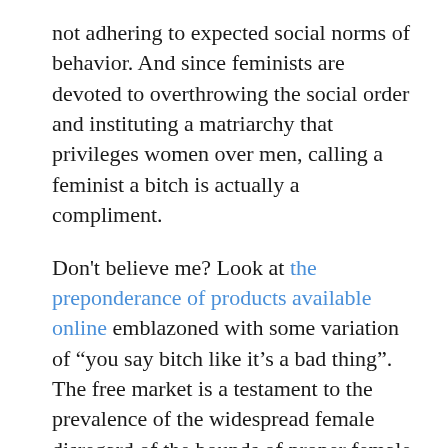not adhering to expected social norms of behavior. And since feminists are devoted to overthrowing the social order and instituting a matriarchy that privileges women over men, calling a feminist a bitch is actually a compliment.
Don't believe me? Look at the preponderance of products available online emblazoned with some variation of “you say bitch like it’s a bad thing”. The free market is a testament to the prevalence of the widespread female disregard of the bounds of proper female behavior.
Lesbian/dyke
This one is just a waste of time, okay? As we all